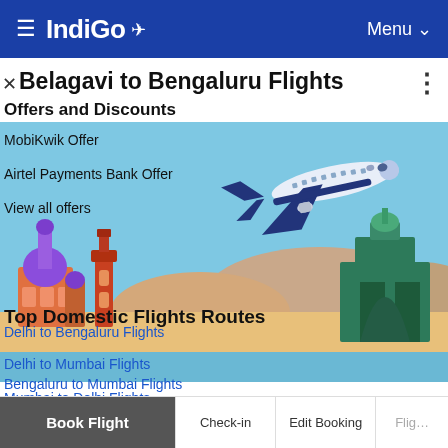≡ IndiGo ✈  Menu ∨
× Belagavi to Bengaluru Flights ⋮
Offers and Discounts
[Figure (illustration): IndiGo airline promotional banner illustration showing an airplane flying over Indian architectural landmarks (temples, fort) with sky, mountains, and landscape in the background]
MobiKwik Offer
Airtel Payments Bank Offer
View all offers
Top Domestic Flights Routes
Delhi to Mumbai Flights
Mumbai to Delhi Flights
Delhi to Bengaluru Flights
Bengaluru to Mumbai Flights
Book Flight | Check-in | Edit Booking | Flig…